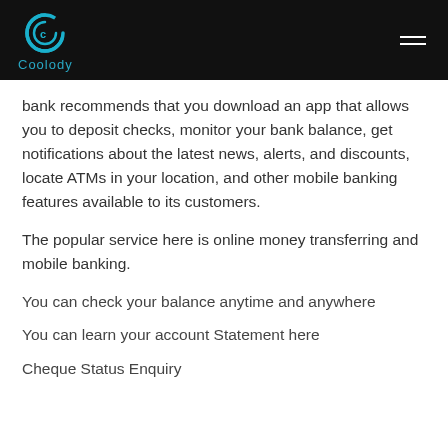Coolody
bank recommends that you download an app that allows you to deposit checks, monitor your bank balance, get notifications about the latest news, alerts, and discounts, locate ATMs in your location, and other mobile banking features available to its customers.
The popular service here is online money transferring and mobile banking.
You can check your balance anytime and anywhere
You can learn your account Statement here
Cheque Status Enquiry